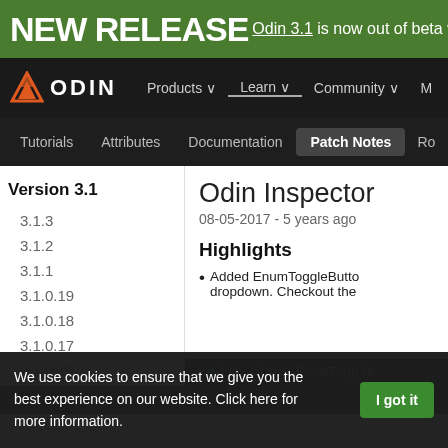NEW RELEASE Odin 3.1 is now out of beta w
[Figure (screenshot): Odin Inspector website navigation bar with logo, Products, Learn, Community, M menu items]
Tutorials  Attributes  Documentation  Patch Notes  Ro
Version 3.1
3.1.3
3.1.2
3.1.1
3.1.0.19
3.1.0.18
3.1.0.17
3.1.0.1?
Odin Inspector
08-05-2017 - 5 years ago
Highlights
Added EnumToggleButton dropdown. Checkout the
public class EnumToggle
We use cookies to ensure that we give you the best experience on our website. Click here for more information.
I got it